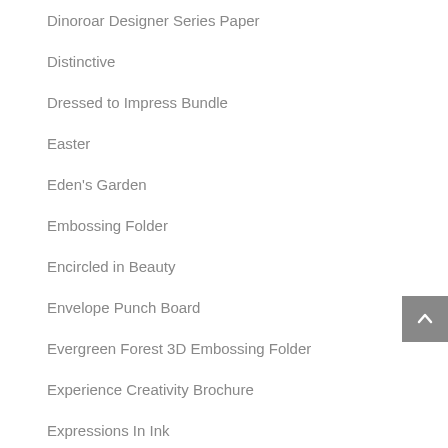Dinoroar Designer Series Paper
Distinctive
Dressed to Impress Bundle
Easter
Eden's Garden
Embossing Folder
Encircled in Beauty
Envelope Punch Board
Evergreen Forest 3D Embossing Folder
Experience Creativity Brochure
Expressions In Ink
Father's Day
Fine Art Floral
Floral
Flowering Fields